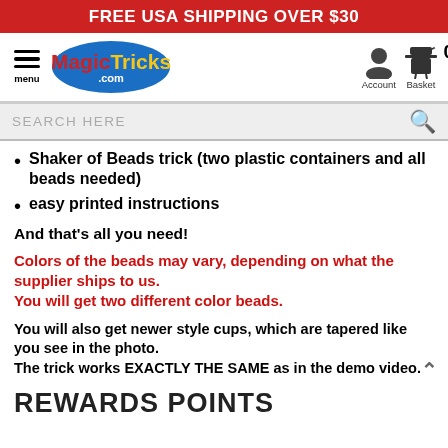FREE USA SHIPPING OVER $30
[Figure (logo): MagicTricks.com logo in blue oval with hamburger menu, account and basket icons, showing 0 items]
SEARCH HERE
Shaker of Beads trick (two plastic containers and all beads needed)
easy printed instructions
And that's all you need!
Colors of the beads may vary, depending on what the supplier ships to us. You will get two different color beads.
You will also get newer style cups, which are tapered like you see in the photo. The trick works EXACTLY THE SAME as in the demo video.
REWARDS POINTS